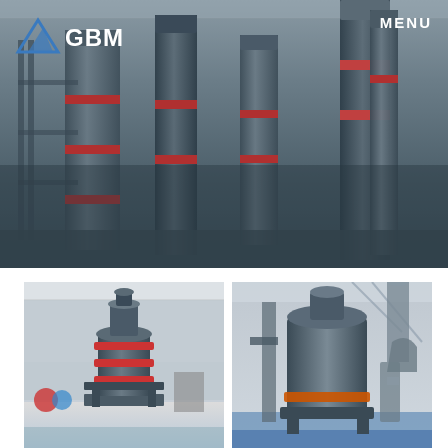[Figure (photo): Industrial grinding machinery facility banner image showing multiple large vertical grinding mills and industrial equipment in a factory setting]
MENU
[Figure (logo): GBM logo with blue mountain/triangle icon and GBM text in white]
ATTA GRINDING MACHINES IN BATHINDA
Home   atta grinding machines in bathinda
[Figure (photo): Industrial vertical grinding mill machine with red accent rings in a warehouse setting]
[Figure (photo): Large industrial grinding mill/pulverizer machine in a factory setting with blue floors]